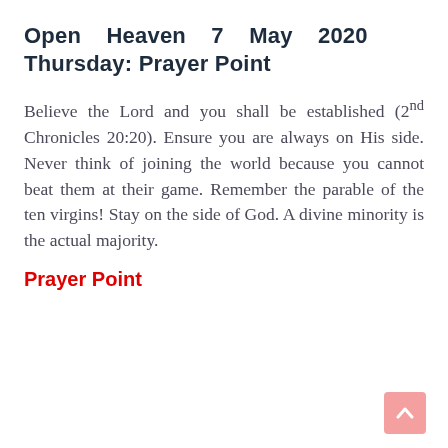Open Heaven 7 May 2020 Thursday: Prayer Point
Believe the Lord and you shall be established (2nd Chronicles 20:20). Ensure you are always on His side. Never think of joining the world because you cannot beat them at their game. Remember the parable of the ten virgins! Stay on the side of God. A divine minority is the actual majority.
Prayer Point